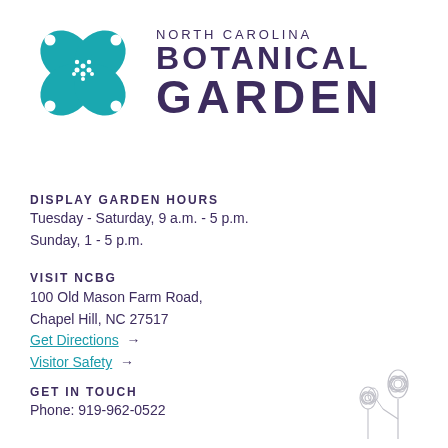[Figure (logo): North Carolina Botanical Garden logo with teal flower icon and text]
DISPLAY GARDEN HOURS
Tuesday - Saturday, 9 a.m. - 5 p.m.
Sunday, 1 - 5 p.m.
VISIT NCBG
100 Old Mason Farm Road,
Chapel Hill, NC 27517
Get Directions →
Visitor Safety →
GET IN TOUCH
Phone: 919-962-0522
[Figure (illustration): Decorative botanical flower line drawings in light gray at bottom right]